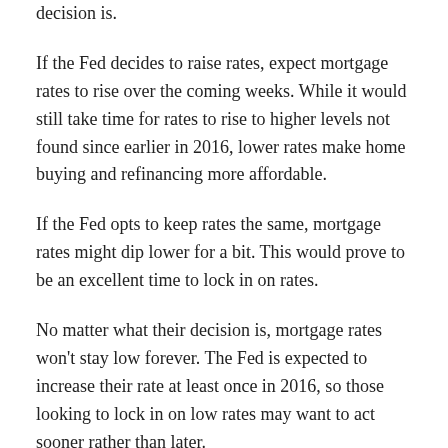decision is.
If the Fed decides to raise rates, expect mortgage rates to rise over the coming weeks. While it would still take time for rates to rise to higher levels not found since earlier in 2016, lower rates make home buying and refinancing more affordable.
If the Fed opts to keep rates the same, mortgage rates might dip lower for a bit. This would prove to be an excellent time to lock in on rates.
No matter what their decision is, mortgage rates won’t stay low forever. The Fed is expected to increase their rate at least once in 2016, so those looking to lock in on low rates may want to act sooner rather than later.
Current Rates
Mortgage rates change every day, and mortgage news